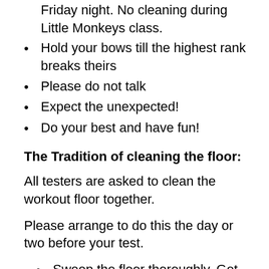Friday night. No cleaning during Little Monkeys class.
Hold your bows till the highest rank breaks theirs
Please do not talk
Expect the unexpected!
Do your best and have fun!
The Tradition of cleaning the floor:
All testers are asked to clean the workout floor together.
Please arrange to do this the day or two before your test.
Sweep the floor thoroughly. Get rid